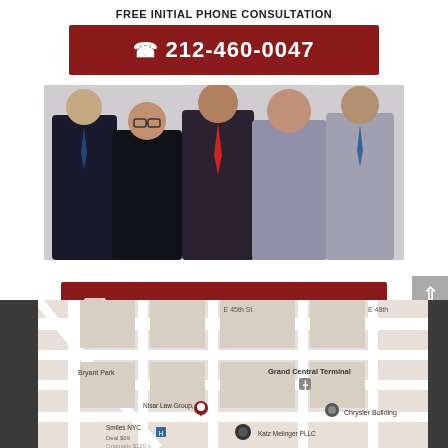FREE INITIAL PHONE CONSULTATION
☎ 212-460-0047
[Figure (photo): Group photo of five attorneys from Nisar Law Group, P.C., posed in professional attire against a white background.]
✉ EMAIL US FOR A RESPONSE
[Figure (map): Google Maps screenshot showing the area around Grand Central Terminal in Midtown Manhattan, with a pin marking Nisar Law Group, P.C. Also visible: Bryant Park, Grand Central Terminal, Chrysler Building, Smiles NYC, Katz Melinger PLLC.]